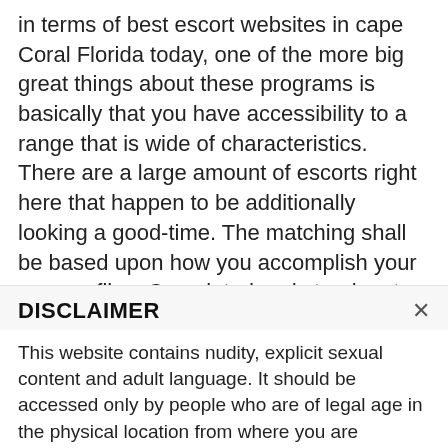in terms of best escort websites in cape Coral Florida today, one of the more big great things about these programs is basically that you have accessibility to a range that is wide of characteristics. There are a large amount of escorts right here that happen to be additionally looking a good-time. The matching shall be based upon how you accomplish your own profiles. Completed and step-by-step users will ensure which you find the right sort you are seeking.
DISCLAIMER
This website contains nudity, explicit sexual content and adult language. It should be accessed only by people who are of legal age in the physical location from where you are accessing the site. By accessing this website, you are representing to us that you are of legal age and agree to our Terms & Conditions. Any unauthorized use of this site may violate state, federal and/or foreign law.
While hookupdates.net does not create, produce or edit any